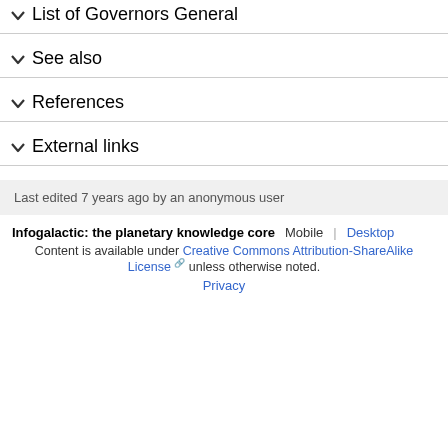List of Governors General
See also
References
External links
Last edited 7 years ago by an anonymous user
Infogalactic: the planetary knowledge core   Mobile  Desktop
Content is available under Creative Commons Attribution-ShareAlike License unless otherwise noted.
Privacy